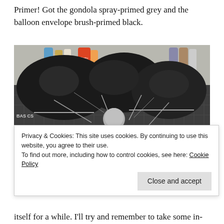Primer! Got the gondola spray-primed grey and the balloon envelope brush-primed black.
[Figure (photo): A grey spray-primed gondola model kit with gun/propeller details sitting on a workbench cutting mat, with a dark black brush-primed balloon envelope behind it. Various hobby paints and bottles visible in background.]
Privacy & Cookies: This site uses cookies. By continuing to use this website, you agree to their use.
To find out more, including how to control cookies, see here: Cookie Policy
Close and accept
itself for a while. I'll try and remember to take some in-